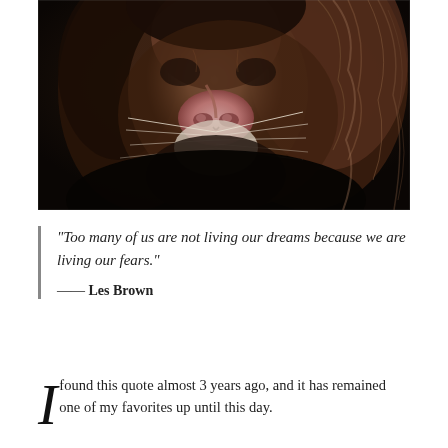[Figure (photo): Close-up photograph of a lion's face and mane against a dark background, showing the lion's nose, whiskers, and thick dark mane with reddish-brown tones.]
“Too many of us are not living our dreams because we are living our fears.” —— Les Brown
I found this quote almost 3 years ago, and it has remained one of my favorites up until this day.